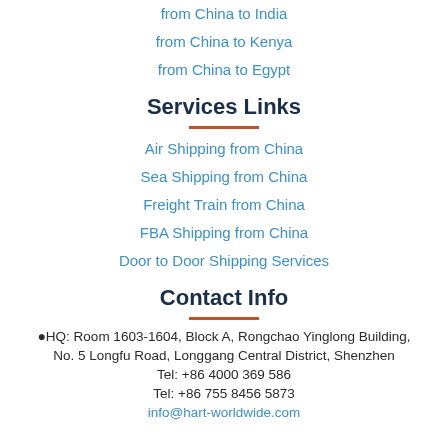from China to India
from China to Kenya
from China to Egypt
Services Links
Air Shipping from China
Sea Shipping from China
Freight Train from China
FBA Shipping from China
Door to Door Shipping Services
Contact Info
HQ: Room 1603-1604, Block A, Rongchao Yinglong Building, No. 5 Longfu Road, Longgang Central District, Shenzhen
Tel: +86 4000 369 586
Tel: +86 755 8456 5873
info@hart-worldwide.com